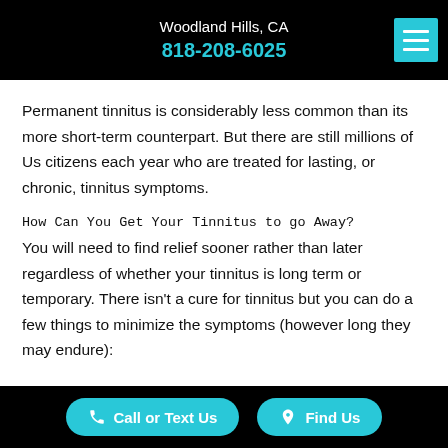Woodland Hills, CA
818-208-6025
Permanent tinnitus is considerably less common than its more short-term counterpart. But there are still millions of Us citizens each year who are treated for lasting, or chronic, tinnitus symptoms.
How Can You Get Your Tinnitus to go Away?
You will need to find relief sooner rather than later regardless of whether your tinnitus is long term or temporary. There isn't a cure for tinnitus but you can do a few things to minimize the symptoms (however long they may endure):
Call or Text Us    Find Us